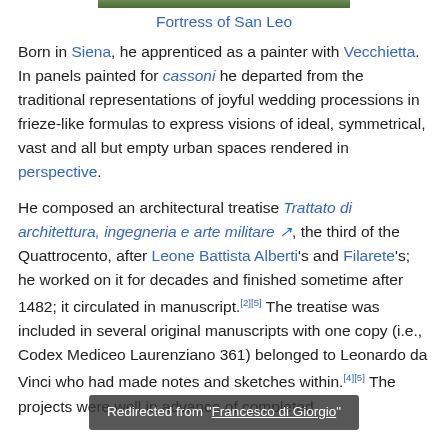[Figure (photo): Top portion of a photograph of the Fortress of San Leo, showing trees and structure]
Fortress of San Leo
Born in Siena, he apprenticed as a painter with Vecchietta. In panels painted for cassoni he departed from the traditional representations of joyful wedding processions in frieze-like formulas to express visions of ideal, symmetrical, vast and all but empty urban spaces rendered in perspective.
He composed an architectural treatise Trattato di architettura, ingegneria e arte militare, the third of the Quattrocento, after Leone Battista Alberti's and Filarete's; he worked on it for decades and finished sometime after 1482; it circulated in manuscript.[2][3] The treatise was included in several original manuscripts with one copy (i.e., Codex Mediceo Laurenziano 361) belonged to Leonardo da Vinci who had made notes and sketches within.[4][5] The projects were well in advance of completed
Redirected from "Francesco di Giorgio"